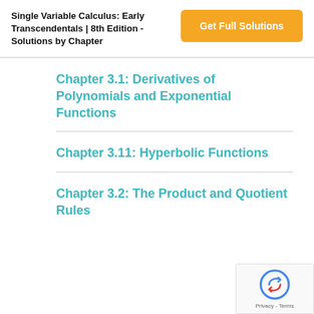Single Variable Calculus: Early Transcendentals | 8th Edition - Solutions by Chapter
Chapter 3.1: Derivatives of Polynomials and Exponential Functions
Chapter 3.11: Hyperbolic Functions
Chapter 3.2: The Product and Quotient Rules